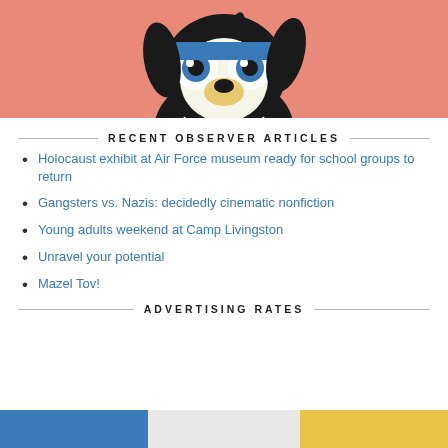[Figure (illustration): Cartoon dog mascot with big eyes and blue goggles/hat on a salmon/coral pink background banner]
RECENT OBSERVER ARTICLES
Holocaust exhibit at Air Force museum ready for school groups to return
Gangsters vs. Nazis: decidedly cinematic nonfiction
Young adults weekend at Camp Livingston
Unravel your potential
Mazel Tov!
ADVERTISING RATES
[Figure (illustration): Bottom banner strip with blue, light gray, and yellow/gold sections partially visible]